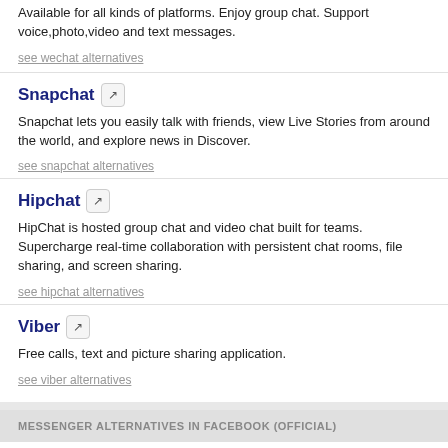Available for all kinds of platforms. Enjoy group chat. Support voice,photo,video and text messages.
see wechat alternatives
Snapchat
Snapchat lets you easily talk with friends, view Live Stories from around the world, and explore news in Discover.
see snapchat alternatives
Hipchat
HipChat is hosted group chat and video chat built for teams. Supercharge real-time collaboration with persistent chat rooms, file sharing, and screen sharing.
see hipchat alternatives
Viber
Free calls, text and picture sharing application.
see viber alternatives
MESSENGER ALTERNATIVES IN FACEBOOK (OFFICIAL)
Facebook
Facebook is a social utility that connects people with friends and others who work, study and live around them.
see facebook alternatives